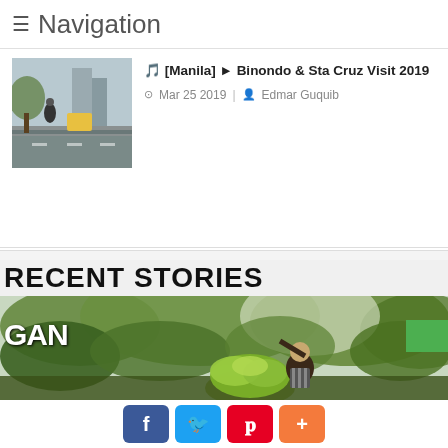≡ Navigation
🎵 [Manila] ► Binondo & Sta Cruz Visit 2019
Mar 25 2019 | Edmar Guquib
RECENT STORIES
[Figure (photo): Man carrying a large bunch of green bananas in a lush green outdoor setting, with GAN text overlay on the left side]
[Figure (photo): Thumbnail showing a street scene in Manila, Binondo or Sta Cruz area]